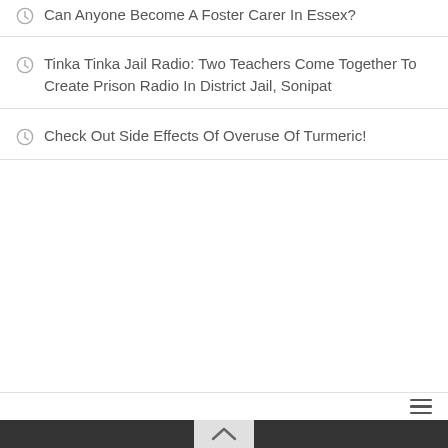Can Anyone Become A Foster Carer In Essex?
Tinka Tinka Jail Radio: Two Teachers Come Together To Create Prison Radio In District Jail, Sonipat
Check Out Side Effects Of Overuse Of Turmeric!
Navigation bar with hamburger menu and back-to-top chevron